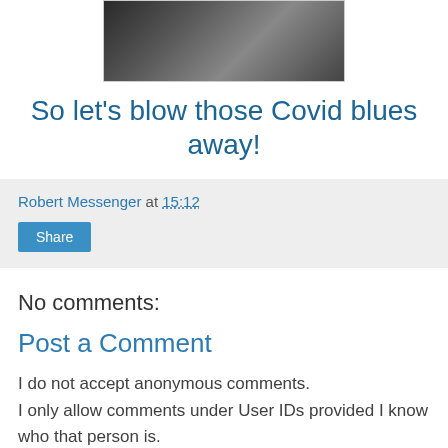[Figure (photo): Black and white close-up photo, partially visible at top of page]
So let's blow those Covid blues away!
Robert Messenger at 15:12
Share
No comments:
Post a Comment
I do not accept anonymous comments.
I only allow comments under User IDs provided I know who that person is.
Do not ask me to evaluate typewriters.
Comments must be relevant to the post.
As the author of these posts, I make the decisions about what they contain - it is not open to discussion.